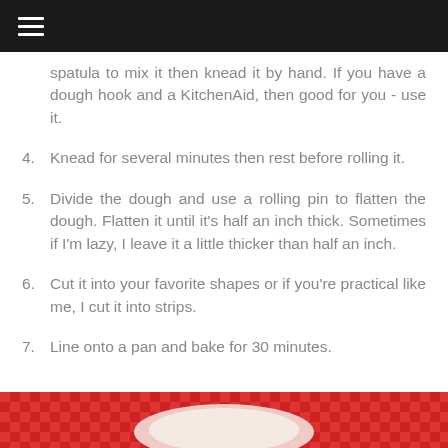≡
spatula to mix it then knead it by hand. If you have a dough hook and a KitchenAid, then good for you - use it.
4. Knead for several minutes then rest before rolling it.
5. Divide the dough and use a rolling pin to flatten the dough. Flatten it until it's half an inch thick. Sometimes if I'm lazy, I leave it a little thicker than half an inch.
6. Cut it into your favorite shapes or if you're practical like me, I cut it into strips.
7. Line onto a pan and bake for 30 minutes.
[Figure (photo): Photo of baked goods on a red checkered surface, partially visible at the bottom of the page.]